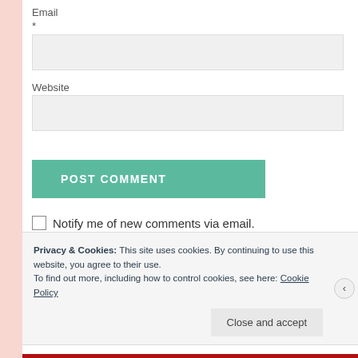Email
*
[Figure (other): Email input text field (empty, light gray background)]
Website
[Figure (other): Website input text field (empty, light gray background)]
[Figure (other): POST COMMENT button (teal/green background, white uppercase text)]
Notify me of new comments via email.
Privacy & Cookies: This site uses cookies. By continuing to use this website, you agree to their use.
To find out more, including how to control cookies, see here: Cookie Policy
Close and accept